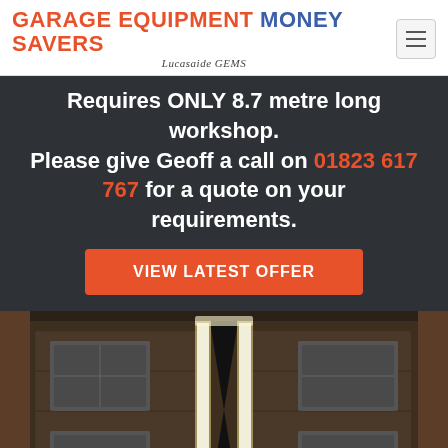GARAGE EQUIPMENT MONEY SAVERS Lucasaide GEMS
Requires ONLY 8.7 metre long workshop. Please give Geoff a call on 01823 617 767 for a quote on your requirements.
VIEW LATEST OFFER
[Figure (photo): Photo of a garage vehicle lift ramp viewed from above/front, showing two metal platform rails with rubber matting, lit with LED lights along the edges, in a garage workshop environment.]